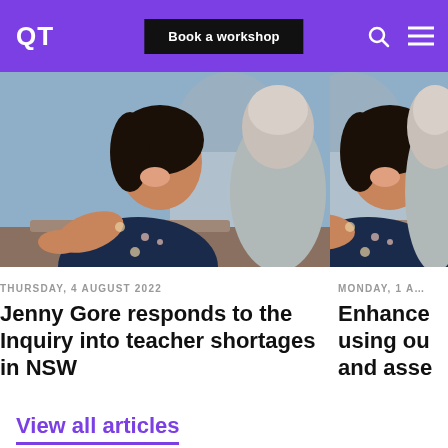QT | Book a workshop
[Figure (photo): Teacher smiling and helping a student at a computer in a classroom setting]
THURSDAY, 4 AUGUST 2022
Jenny Gore responds to the Inquiry into teacher shortages in NSW
[Figure (photo): Partial view of same or similar classroom scene cropped on right side]
MONDAY, 1 A…
Enhance… using ou… and asse…
View all articles